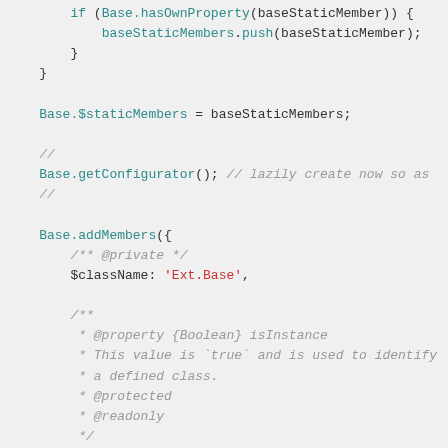Code snippet showing JavaScript class system code including if/for loop, Base.$staticMembers assignment, Base.getConfigurator(), Base.addMembers with $className and isInstance properties